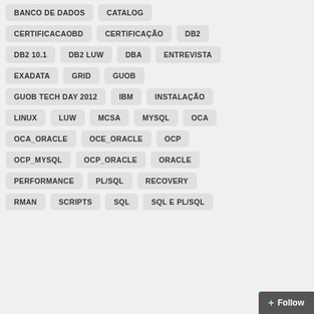BANCO DE DADOS
CATALOG
CERTIFICACAOBD
CERTIFICAÇÃO
DB2
DB2 10.1
DB2 LUW
DBA
ENTREVISTA
EXADATA
GRID
GUOB
GUOB TECH DAY 2012
IBM
INSTALAÇÃO
LINUX
LUW
MCSA
MYSQL
OCA
OCA_ORACLE
OCE_ORACLE
OCP
OCP_MYSQL
OCP_ORACLE
ORACLE
PERFORMANCE
PL/SQL
RECOVERY
RMAN
SCRIPTS
SQL
SQL E PL/SQL